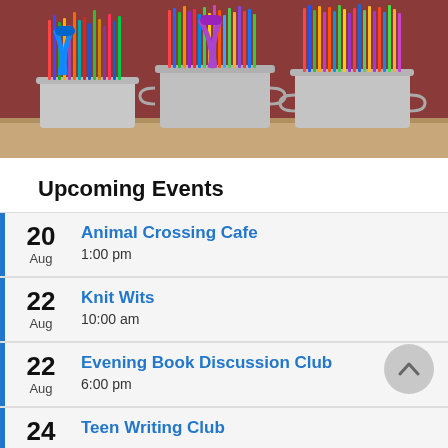[Figure (photo): Photo of colorful pencils, scissors, and art supplies in metal containers on a shelf, with a red/maroon background]
Upcoming Events
20 Aug — Animal Crossing Cafe, 1:00 pm
22 Aug — Knit Wits, 10:00 am
22 Aug — Evening Book Discussion Club, 6:00 pm
24 — Teen Writing Club